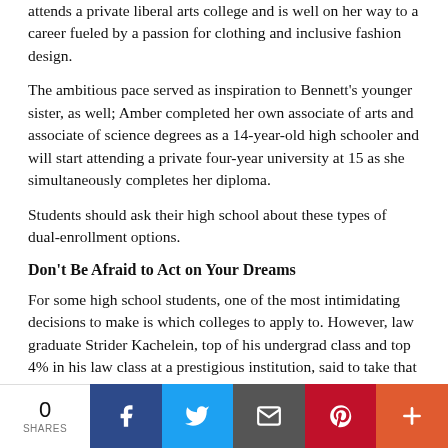attends a private liberal arts college and is well on her way to a career fueled by a passion for clothing and inclusive fashion design.
The ambitious pace served as inspiration to Bennett's younger sister, as well; Amber completed her own associate of arts and associate of science degrees as a 14-year-old high schooler and will start attending a private four-year university at 15 as she simultaneously completes her diploma.
Students should ask their high school about these types of dual-enrollment options.
Don't Be Afraid to Act on Your Dreams
For some high school students, one of the most intimidating decisions to make is which colleges to apply to. However, law graduate Strider Kachelein, top of his undergrad class and top 4% in his law class at a prestigious institution, said to take that chance and apply to your dream school, even if you think you can't afford the tuition.
0 SHARES | Facebook | Twitter | Email | Pinterest | More